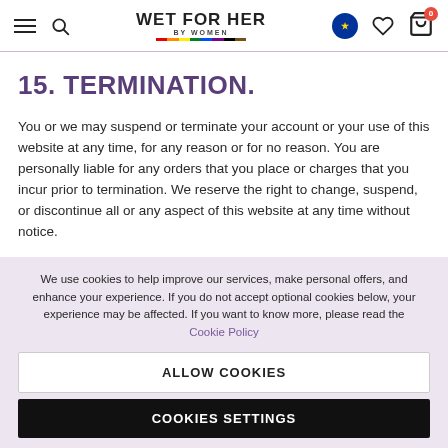WET FOR HER BY WOMEN — navigation header
15. TERMINATION.
You or we may suspend or terminate your account or your use of this website at any time, for any reason or for no reason. You are personally liable for any orders that you place or charges that you incur prior to termination. We reserve the right to change, suspend, or discontinue all or any aspect of this website at any time without notice.
We use cookies to help improve our services, make personal offers, and enhance your experience. If you do not accept optional cookies below, your experience may be affected. If you want to know more, please read the Cookie Policy
ALLOW COOKIES
COOKIES SETTINGS